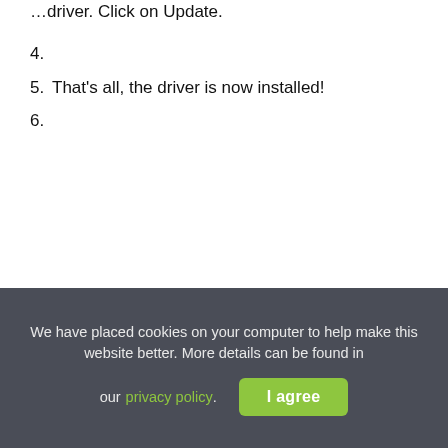…driver. Click on Update.
4.
5. That's all, the driver is now installed!
6.
We have placed cookies on your computer to help make this website better. More details can be found in our privacy policy.
I agree